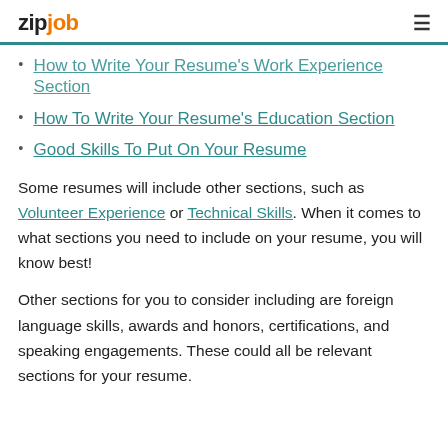zipjob
How to Write Your Resume's Work Experience Section
How To Write Your Resume's Education Section
Good Skills To Put On Your Resume
Some resumes will include other sections, such as Volunteer Experience or Technical Skills. When it comes to what sections you need to include on your resume, you will know best!
Other sections for you to consider including are foreign language skills, awards and honors, certifications, and speaking engagements. These could all be relevant sections for your resume.